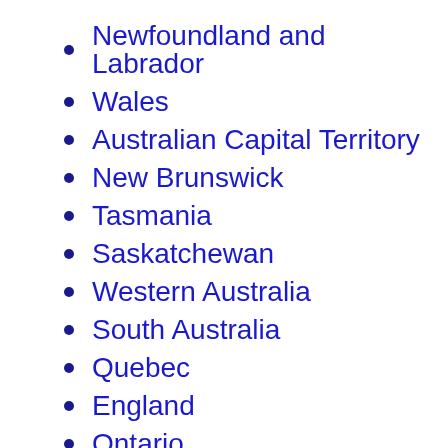Newfoundland and Labrador
Wales
Australian Capital Territory
New Brunswick
Tasmania
Saskatchewan
Western Australia
South Australia
Quebec
England
Ontario